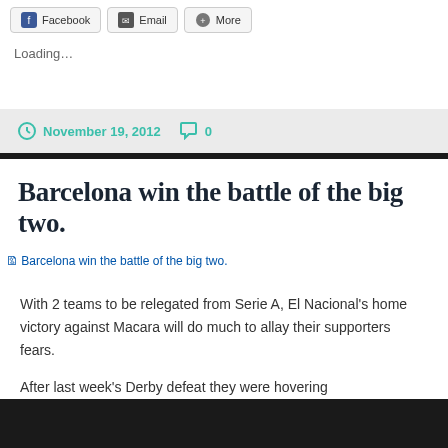[Figure (screenshot): Share buttons row: Facebook, Email, More]
Loading...
November 19, 2012   0
Barcelona win the battle of the big two.
[Figure (photo): Broken image placeholder: Barcelona win the battle of the big two.]
With 2 teams to be relegated from Serie A, El Nacional's home victory against Macara will do much to allay their supporters fears.
After last week's Derby defeat they were hovering